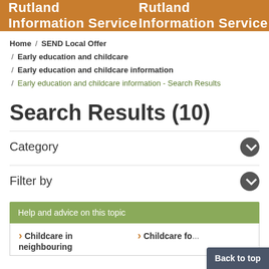Rutland Information Service
Home / SEND Local Offer / Early education and childcare / Early education and childcare information / Early education and childcare information - Search Results
Search Results (10)
Category
Filter by
Help and advice on this topic
Childcare in neighbouring
Childcare fo...